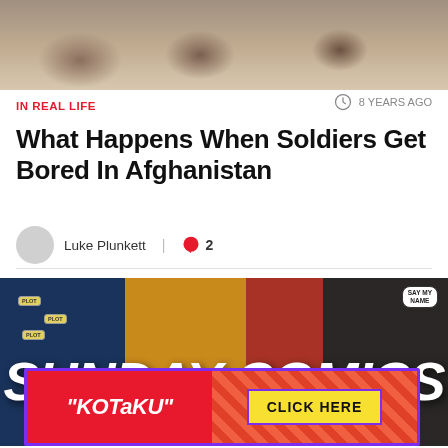[Figure (photo): Top portion of a photo showing sand, rocks, and military equipment in Afghanistan]
IN REAL LIFE
8 YEARS AGO
What Happens When Soldiers Get Bored In Afghanistan
Luke Plunkett | 2
[Figure (illustration): Sunday Comics banner image with comic panels showing cartoon characters and 'SAY MY NAME' speech bubble, with large white bold italic text reading 'SUNDAY COMICS' overlaid]
[Figure (other): Kotaku advertisement banner with red background on left showing Kotaku logo and striped pattern on right with yellow CLICK HERE button]